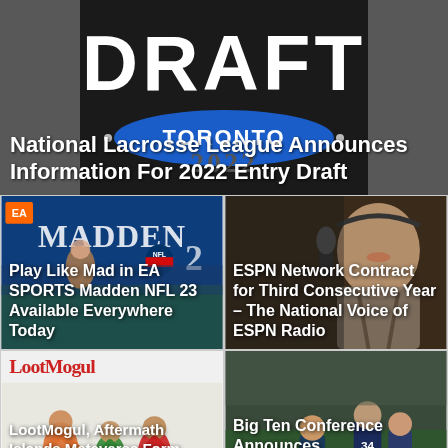[Figure (photo): NFL Draft Toronto 2022 banner with dark background, showing DRAFT and TORONTO logos]
National Lacrosse League Announces Information For 2022 Entry Draft
[Figure (photo): EA SPORTS Madden NFL 23 promotional image with player and game branding]
Play Like Mad in EA SPORTS Madden NFL 23 Available Everywhere Today
[Figure (photo): ESPN Radio broadcaster with microphone and headset]
ESPN Network Contract for Third Consecutive Year – The National Voice of ESPN Radio
[Figure (photo): LootMogul Aftermath Islands Metaverse promotional image with basketball players]
LootMogul, Aftermath Islands Metaverse Form Strategic Metaverse Multi-chain Partnership
[Figure (photo): Big Ten Conference soccer players on field]
Big Ten Conference Announces Groundbreaking Media Rights Agreements